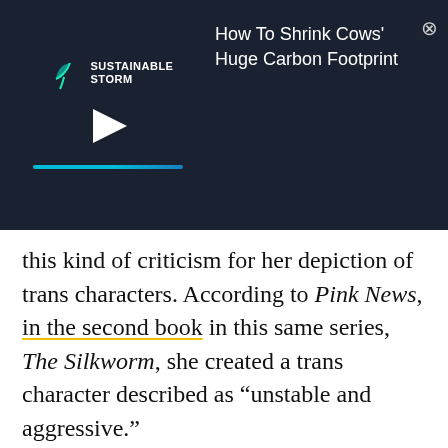[Figure (screenshot): A video advertisement overlay with a dark navy background. Left side shows 'Sustainable Storm' logo with a teal leaf icon and a white play button triangle, plus a teal/blue progress bar beneath. Right side shows white text 'How To Shrink Cows' Huge Carbon Footprint' with a close (X) button in the top-right corner.]
this kind of criticism for her depiction of trans characters. According to Pink News, in the second book in this same series, The Silkworm, she created a trans character described as “unstable and aggressive.”
ADVERTISEMENT